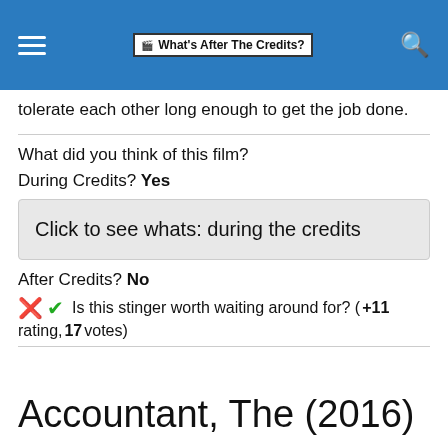What's After The Credits?
tolerate each other long enough to get the job done.
What did you think of this film?
During Credits? Yes
Click to see whats: during the credits
After Credits? No
Is this stinger worth waiting around for? (+11 rating, 17 votes)
Accountant, The (2016)